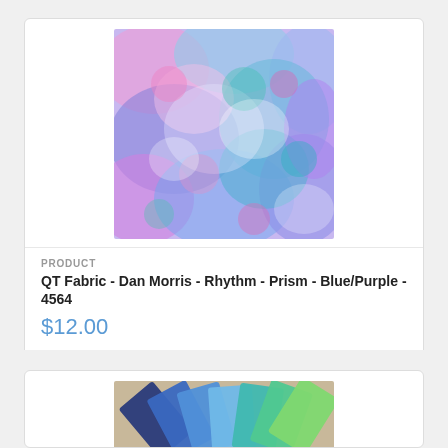[Figure (photo): Close-up photo of blue/purple/pink abstract swirling fabric pattern - QT Fabric Rhythm Prism]
PRODUCT
QT Fabric - Dan Morris - Rhythm - Prism - Blue/Purple - 4564
$12.00
[Figure (photo): Photo of colorful fabric charm pack swatches fanned out showing blues, teals, and greens]